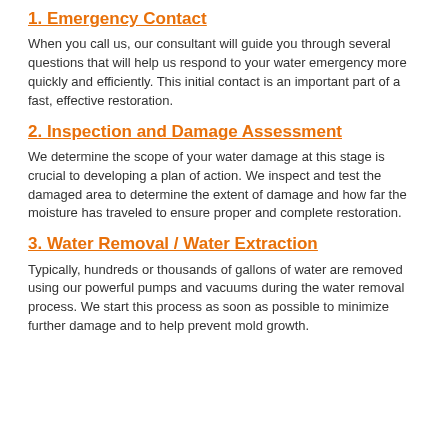1.  Emergency Contact
When you call us, our consultant will guide you through several questions that will help us respond to your water emergency more quickly and efficiently. This initial contact is an important part of a fast, effective restoration.
2. Inspection and Damage Assessment
We determine the scope of your water damage at this stage is crucial to developing a plan of action. We inspect and test the damaged area to determine the extent of damage and how far the moisture has traveled to ensure proper and complete restoration.
3. Water Removal / Water Extraction
Typically, hundreds or thousands of gallons of water are removed using our powerful pumps and vacuums during the water removal process. We start this process as soon as possible to minimize further damage and to help prevent mold growth.